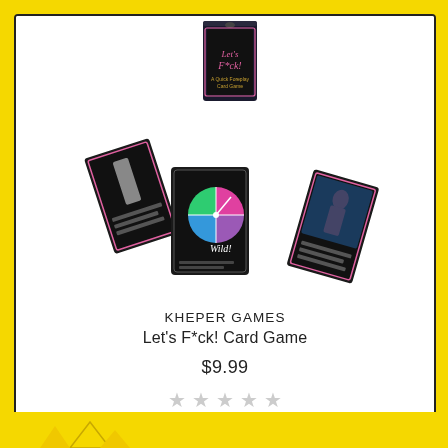[Figure (photo): Product photo of Kheper Games Let's F*ck! Card Game showing card box and spread of cards with spinner]
KHEPER GAMES
Let's F*ck! Card Game
$9.99
[Figure (other): Five empty star rating icons in light gray]